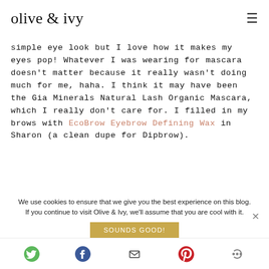olive & ivy
simple eye look but I love how it makes my eyes pop! Whatever I was wearing for mascara doesn't matter because it really wasn't doing much for me, haha. I think it may have been the Gia Minerals Natural Lash Organic Mascara, which I really don't care for. I filled in my brows with EcoBrow Eyebrow Defining Wax in Sharon (a clean dupe for Dipbrow).
We use cookies to ensure that we give you the best experience on this blog. If you continue to visit Olive & Ivy, we'll assume that you are cool with it.
SOUNDS GOOD!
[Figure (other): Social media share icons: Twitter, Facebook, Email, Pinterest, and More (share) buttons in a bottom bar]